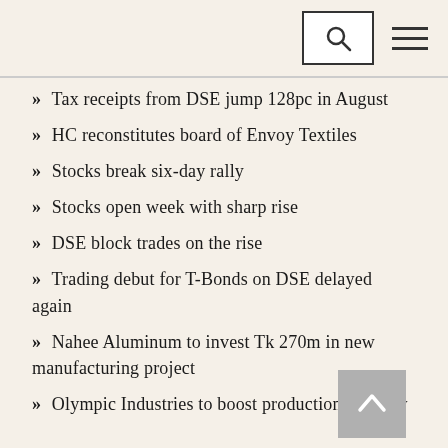Tax receipts from DSE jump 128pc in August
HC reconstitutes board of Envoy Textiles
Stocks break six-day rally
Stocks open week with sharp rise
DSE block trades on the rise
Trading debut for T-Bonds on DSE delayed again
Nahee Aluminum to invest Tk 270m in new manufacturing project
Olympic Industries to boost production capacity